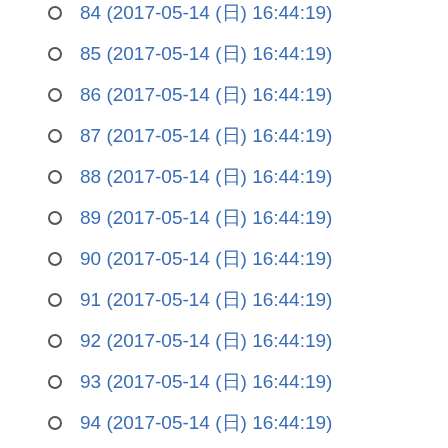84 (2017-05-14 (日) 16:44:19)
85 (2017-05-14 (日) 16:44:19)
86 (2017-05-14 (日) 16:44:19)
87 (2017-05-14 (日) 16:44:19)
88 (2017-05-14 (日) 16:44:19)
89 (2017-05-14 (日) 16:44:19)
90 (2017-05-14 (日) 16:44:19)
91 (2017-05-14 (日) 16:44:19)
92 (2017-05-14 (日) 16:44:19)
93 (2017-05-14 (日) 16:44:19)
94 (2017-05-14 (日) 16:44:19)
95 (2017-05-14 (日) 16:44:19)
96 (2017-05-14 (日) 16:44:19)
97 (2017-05-14 (日) 16:44:19)
98 (2017-05-14 (日) 16:44:19)
99 (2017-05-14 (日) 16:44:19)
100 (2017-05-14 (日) 16:44:19)
101 (2017-05-14 (日) 16:44:19)
102 (2017-05-14 (日) 16:44:19)
103 (2017-05-14 (日) 16:44:19)
104 (2017-05-14 (日) 16:44:19)
105 (2017-05-14 (日) 16:44:19)
106 (2017-05-14 (日) 16:44:19)
107 (2017-05-14 (日) 16:44:19)
108 (2017-05-14 (日) 16:44:19)